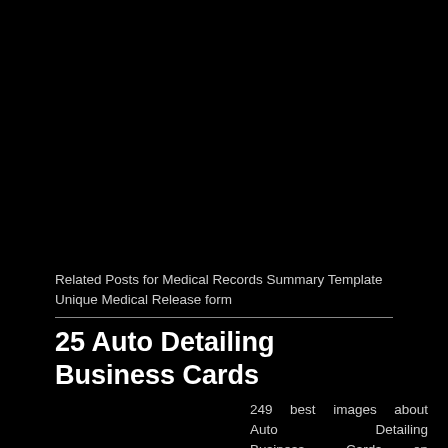[Figure (photo): Large black image occupying the top portion of the page]
Related Posts for Medical Records Summary Template
Unique Medical Release form
25 Auto Detailing Business Cards
249 best images about Auto Detailing Business Cards on from auto detailing